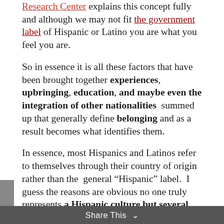Research Center explains this concept fully and although we may not fit the government label of Hispanic or Latino you are what you feel you are.
So in essence it is all these factors that have been brought together experiences, upbringing, education, and maybe even the integration of other nationalities  summed up that generally define belonging and as a result becomes what identifies them.
In essence, most Hispanics and Latinos refer to themselves through their country of origin rather than the  general “Hispanic” label.  I guess the reasons are obvious no one truly represents a Hispanic culture but several facets in it.
Share This